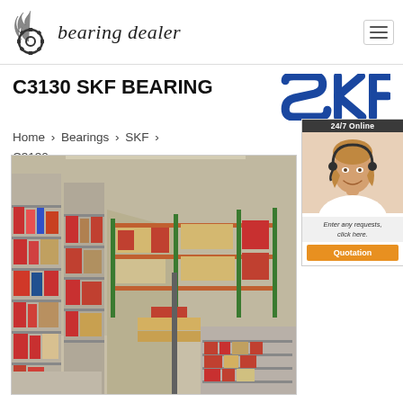bearing dealer
C3130 SKF BEARING
[Figure (logo): SKF brand logo in blue bold letters]
Home › Bearings › SKF › C3130
[Figure (photo): Interior of a large warehouse with metal shelving units stocked with boxed bearing products, extending into the background with industrial pallet racking visible]
[Figure (infographic): 24/7 Online support panel showing a female customer service agent with headset, text 'Enter any requests, click here.' and an orange Quotation button]